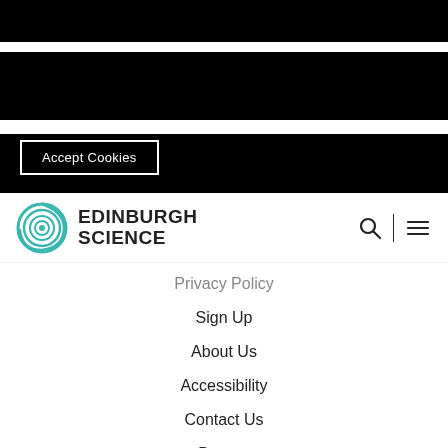This website uses cookies
We use cookies on our site to provide our online booking service, analytics and other functionality. Find out more about what cookies we use and how to disable them.
Accept Cookies
[Figure (logo): Edinburgh Science logo with teal spiral graphic and bold black text reading EDINBURGH SCIENCE]
Privacy Policy
Sign Up
About Us
Accessibility
Contact Us
Donate
© Edinburgh Science Ltd. 2022. Edinburgh Science Foundation is a company limited by guarantee and incorporated in Scotland (SC126121) with its registered office at Harbourside House, 110